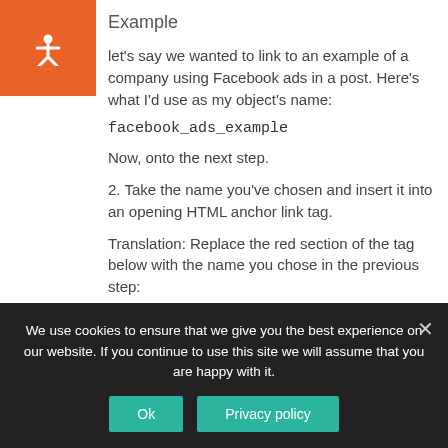Example
let's say we wanted to link to an example of a company using Facebook ads in a post. Here's what I'd use as my object's name:
facebook_ads_example
Now, onto the next step.
2. Take the name you've chosen and insert it into an opening HTML anchor link tag.
Translation: Replace the red section of the tag below with the name you chose in the previous step:
We use cookies to ensure that we give you the best experience on our website. If you continue to use this site we will assume that you are happy with it.